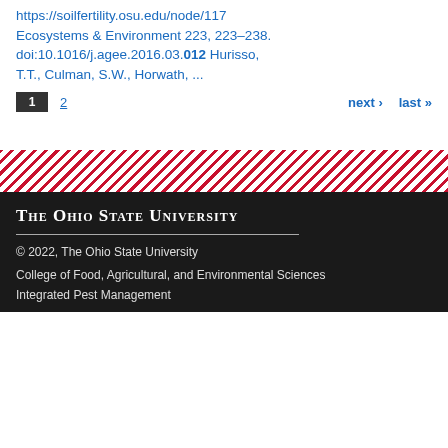https://soilfertility.osu.edu/node/117 Ecosystems & Environment 223, 223–238. doi:10.1016/j.agee.2016.03.012 Hurisso, T.T., Culman, S.W., Horwath, ...
1 (current page)
2
next › last »
[Figure (illustration): Diagonal red and white stripe decorative band]
The Ohio State University
© 2022, The Ohio State University
College of Food, Agricultural, and Environmental Sciences
Integrated Pest Management